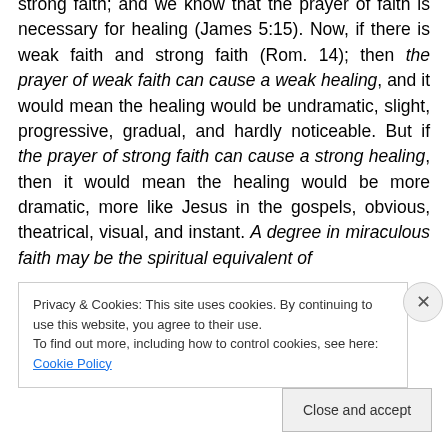strong faith; and we know that the prayer of faith is necessary for healing (James 5:15). Now, if there is weak faith and strong faith (Rom. 14); then the prayer of weak faith can cause a weak healing, and it would mean the healing would be undramatic, slight, progressive, gradual, and hardly noticeable. But if the prayer of strong faith can cause a strong healing, then it would mean the healing would be more dramatic, more like Jesus in the gospels, obvious, theatrical, visual, and instant. A degree in miraculous faith may be the spiritual equivalent of
Privacy & Cookies: This site uses cookies. By continuing to use this website, you agree to their use.
To find out more, including how to control cookies, see here: Cookie Policy
Close and accept